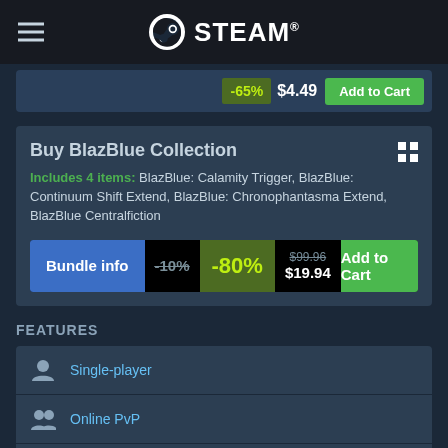STEAM
[Figure (screenshot): Partially visible price bar with -65% discount, $4.49 price, and Add to Cart button]
Buy BlazBlue Collection
Includes 4 items: BlazBlue: Calamity Trigger, BlazBlue: Continuum Shift Extend, BlazBlue: Chronophantasma Extend, BlazBlue Centralfiction
Bundle info  -10%  -80%  $99.96  $19.94  Add to Cart
FEATURES
Single-player
Online PvP
Shared/Split Screen PvP